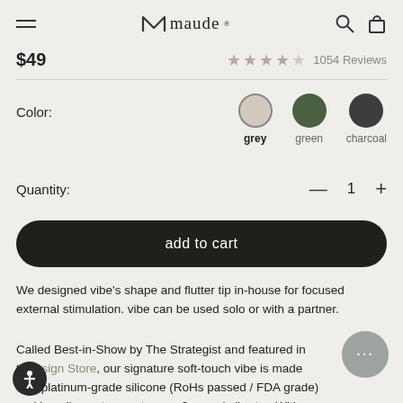maude
$49   ★★★★☆  1054 Reviews
Color:   grey   green   charcoal
Quantity:   — 1 +
add to cart
We designed vibe's shape and flutter tip in-house for focused external stimulation. vibe can be used solo or with a partner.
Called Best-in-Show by The Strategist and featured in the Design Store, our signature soft-touch vibe is made with platinum-grade silicone (RoHs passed / FDA grade) and is a discreet, easy-to-use, 3-speed vibrator. With a runtime of up to 2.5